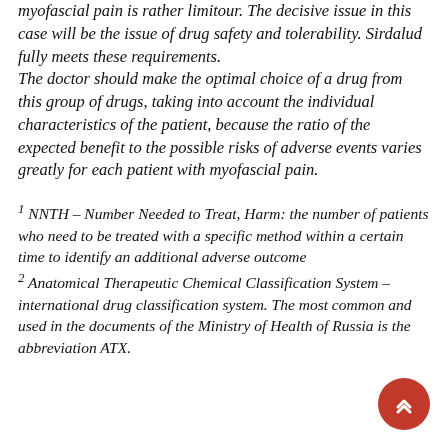myofascial pain is rather limitour. The decisive issue in this case will be the issue of drug safety and tolerability. Sirdalud fully meets these requirements. The doctor should make the optimal choice of a drug from this group of drugs, taking into account the individual characteristics of the patient, because the ratio of the expected benefit to the possible risks of adverse events varies greatly for each patient with myofascial pain.
1 NNTH – Number Needed to Treat, Harm: the number of patients who need to be treated with a specific method within a certain time to identify an additional adverse outcome
2 Anatomical Therapeutic Chemical Classification System – international drug classification system. The most common and used in the documents of the Ministry of Health of Russia is the abbreviation ATX.